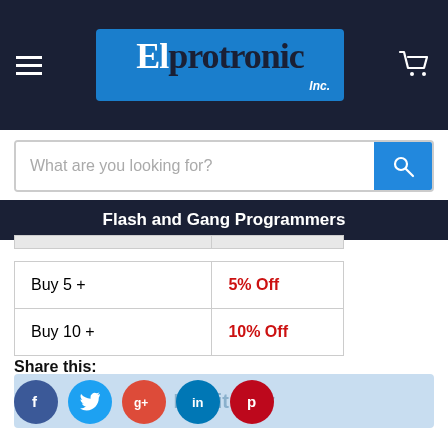[Figure (logo): Elprotronic Inc. logo on dark navy header bar with hamburger menu and cart icon]
What are you looking for?
Flash and Gang Programmers
|  |  |
| --- | --- |
| Buy 5 + | 5% Off |
| Buy 10 + | 10% Off |
Buy it now
Share this:
[Figure (illustration): Social media share icons: Facebook (blue), Twitter (light blue), Google+ (red), LinkedIn (dark blue), Pinterest (dark red)]